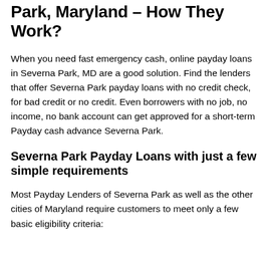Park, Maryland – How They Work?
When you need fast emergency cash, online payday loans in Severna Park, MD are a good solution. Find the lenders that offer Severna Park payday loans with no credit check, for bad credit or no credit. Even borrowers with no job, no income, no bank account can get approved for a short-term Payday cash advance Severna Park.
Severna Park Payday Loans with just a few simple requirements
Most Payday Lenders of Severna Park as well as the other cities of Maryland require customers to meet only a few basic eligibility criteria: